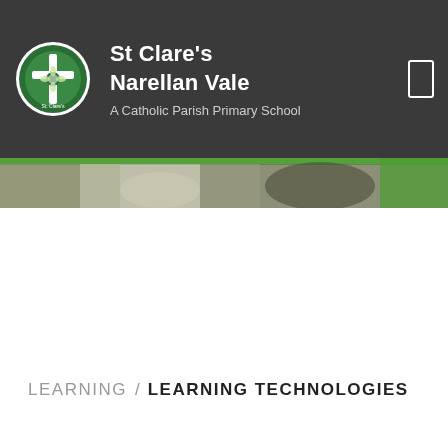St Clare's Narellan Vale — A Catholic Parish Primary School
[Figure (photo): Blurred hero image of school environment with green accent strip at top]
LEARNING / LEARNING TECHNOLOGIES